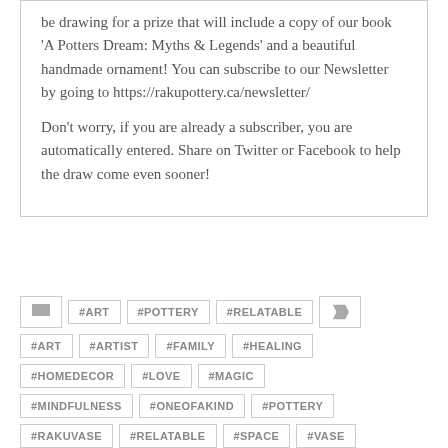be drawing for a prize that will include a copy of our book 'A Potters Dream: Myths & Legends' and a beautiful handmade ornament! You can subscribe to our Newsletter by going to https://rakupottery.ca/newsletter/
Don't worry, if you are already a subscriber, you are automatically entered. Share on Twitter or Facebook to help the draw come even sooner!
#ART
#POTTERY
#RELATABLE
#ART
#ARTIST
#FAMILY
#HEALING
#HOMEDECOR
#LOVE
#MAGIC
#MINDFULNESS
#ONEOFAKIND
#POTTERY
#RAKUVASE
#RELATABLE
#SPACE
#VASE